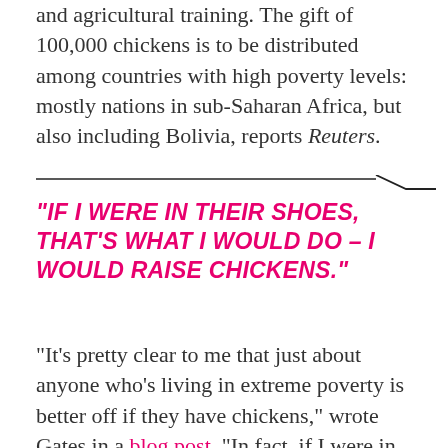and agricultural training. The gift of 100,000 chickens is to be distributed among countries with high poverty levels: mostly nations in sub-Saharan Africa, but also including Bolivia, reports Reuters.
"IF I WERE IN THEIR SHOES, THAT'S WHAT I WOULD DO – I WOULD RAISE CHICKENS."
"It's pretty clear to me that just about anyone who's living in extreme poverty is better off if they have chickens," wrote Gates in a blog post. "In fact, if I were in their shoes, that's what I would do — I would raise chickens." He says that the animals are easy and inexpensive to raise, empower women ("because chickens are small and stay close to home"), and can help food children in poor families